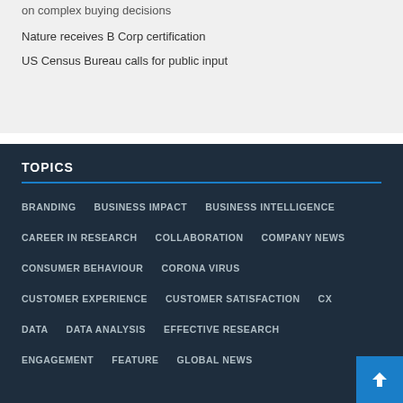on complex buying decisions
Nature receives B Corp certification
US Census Bureau calls for public input
TOPICS
BRANDING
BUSINESS IMPACT
BUSINESS INTELLIGENCE
CAREER IN RESEARCH
COLLABORATION
COMPANY NEWS
CONSUMER BEHAVIOUR
CORONA VIRUS
CUSTOMER EXPERIENCE
CUSTOMER SATISFACTION
CX
DATA
DATA ANALYSIS
EFFECTIVE RESEARCH
ENGAGEMENT
FEATURE
GLOBAL NEWS